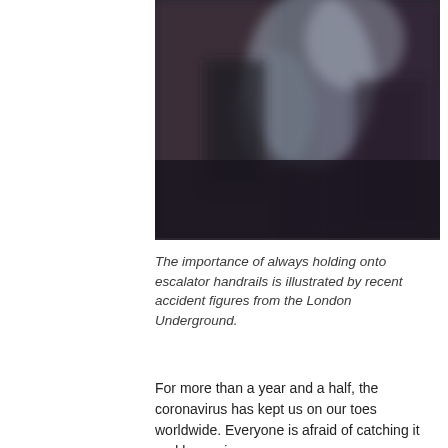[Figure (photo): A blurred, dark photograph showing people on what appears to be an escalator or stairway, with blurred figures and muted dark tones.]
The importance of always holding onto escalator handrails is illustrated by recent accident figures from the London Underground.
For more than a year and a half, the coronavirus has kept us on our toes worldwide. Everyone is afraid of catching it and becoming